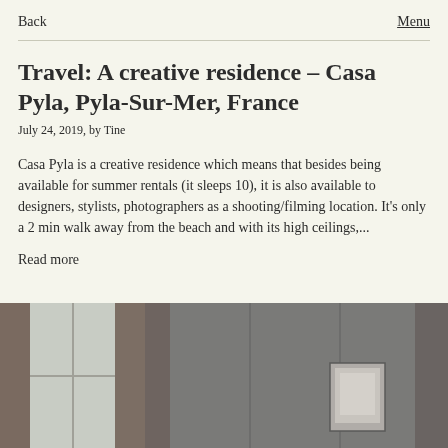Back   Menu
Travel: A creative residence – Casa Pyla, Pyla-Sur-Mer, France
July 24, 2019, by Tine
Casa Pyla is a creative residence which means that besides being available for summer rentals (it sleeps 10), it is also available to designers, stylists, photographers as a shooting/filming location. It's only a 2 min walk away from the beach and with its high ceilings,...
Read more
[Figure (photo): Interior room photo showing tall windows with curtains on the left and gray-toned walls on the right with a framed artwork visible in the background]